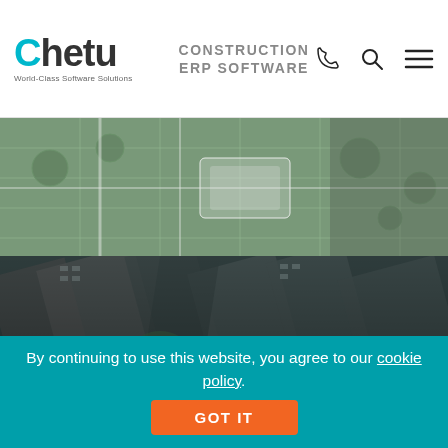CONSTRUCTION ERP SOFTWARE
[Figure (logo): Chetu logo with tagline 'World-Class Software Solutions']
[Figure (photo): Overhead view of hands reviewing construction/landscaping plans on a green table]
[Figure (photo): Aerial view of city buildings and streets from drone perspective]
BLOG: 5 WAYS DRONS ARE REVOLUTIONIZING THE
By continuing to use this website, you agree to our cookie policy.
GOT IT